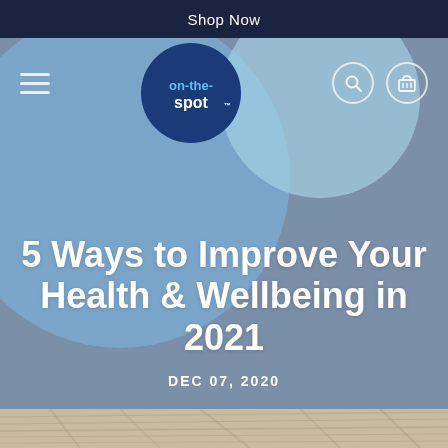Shop Now
[Figure (screenshot): Website header with on-the-spot logo, hamburger menu, search and basket icons on a blue-grey background with decorative circles]
5 Ways to Improve Your Health & Wellbeing in 2021
DEC 07, 2020
[Figure (photo): Close-up of light-coloured grain or plant material forming the bottom strip of the page]